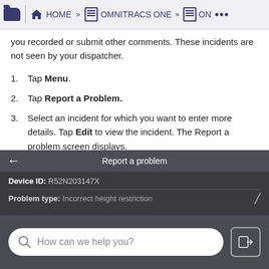HOME » OMNITRACS ONE » OM ...
you recorded or submit other comments. These incidents are not seen by your dispatcher.
1. Tap Menu.
2. Tap Report a Problem.
3. Select an incident for which you want to enter more details. Tap Edit to view the incident. The Report a problem screen displays.
Notes: If you did not create an incident while on the road, you can tap Add to create a new incident.
[Figure (screenshot): Mobile app screenshot showing 'Report a problem' screen with Device ID: R52N203147X and Problem type: Incorrect height restriction]